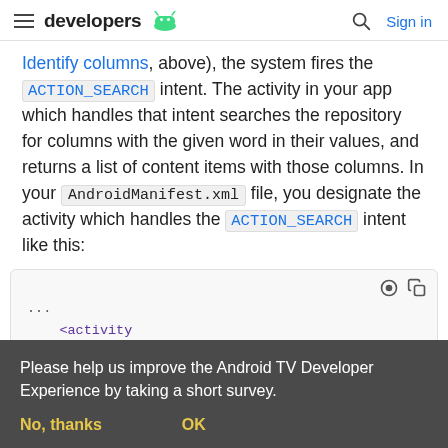developers [Android logo] | [search icon] Sign in
Identify columns, above), the system fires the ACTION_SEARCH intent. The activity in your app which handles that intent searches the repository for columns with the given word in their values, and returns a list of content items with those columns. In your AndroidManifest.xml file, you designate the activity which handles the ACTION_SEARCH intent like this:
[Figure (screenshot): Code block showing XML snippet with ... <activity android:name="com.example.android.tvleanbac... android:exported="true">]
Please help us improve the Android TV Developer Experience by taking a short survey.
No, thanks
OK